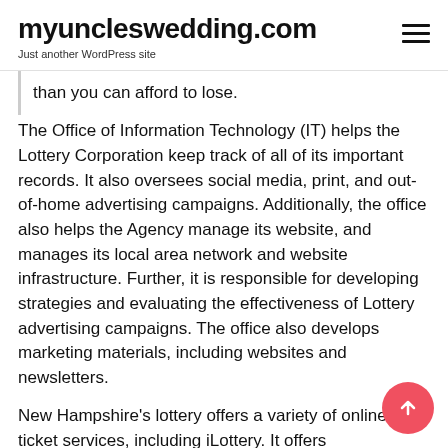myuncleswedding.com
Just another WordPress site
than you can afford to lose.
The Office of Information Technology (IT) helps the Lottery Corporation keep track of all of its important records. It also oversees social media, print, and out-of-home advertising campaigns. Additionally, the office also helps the Agency manage its website, and manages its local area network and website infrastructure. Further, it is responsible for developing strategies and evaluating the effectiveness of Lottery advertising campaigns. The office also develops marketing materials, including websites and newsletters.
New Hampshire's lottery offers a variety of online ticket services, including iLottery. It offers